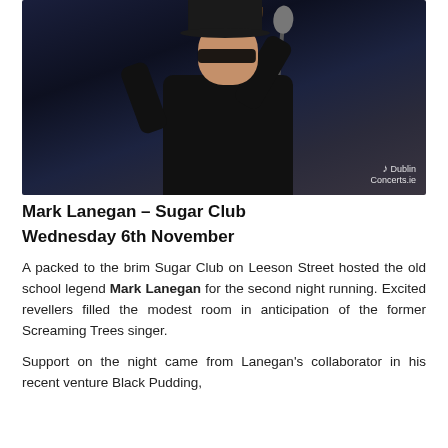[Figure (photo): A performer wearing a black hat, sunglasses, and black jacket standing at a microphone stand on a darkly lit stage. The Dublin Concerts.ie watermark is visible in the bottom right of the image.]
Mark Lanegan – Sugar Club
Wednesday 6th November
A packed to the brim Sugar Club on Leeson Street hosted the old school legend Mark Lanegan for the second night running. Excited revellers filled the modest room in anticipation of the former Screaming Trees singer.
Support on the night came from Lanegan's collaborator in his recent venture Black Pudding,